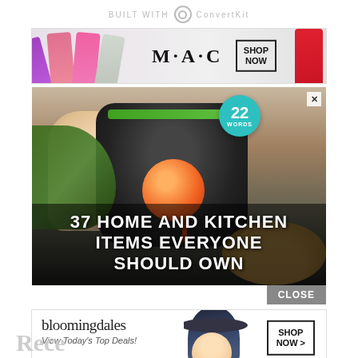BUILT WITH ConvertKit
[Figure (photo): MAC cosmetics advertisement showing lipsticks and SHOP NOW button]
[Figure (photo): 22 Words article thumbnail: 37 HOME AND KITCHEN ITEMS EVERYONE SHOULD OWN, showing a kitchen gadget peeling a tomato]
[Figure (photo): Bloomingdales advertisement showing View Today's Top Deals! with a woman in a hat and SHOP NOW button]
Rece